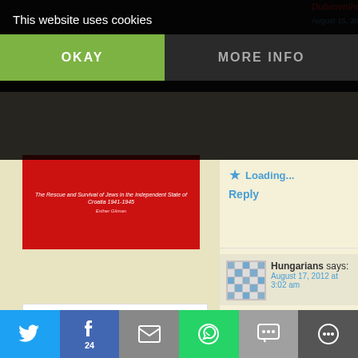This website uses cookies
OKAY
MORE INFO
[Figure (photo): Book cover: red background, 'The Rescue and Survival of Jews in the Independent State of Croatia 1941-1945']
[Figure (photo): Book cover: FRAGMENTS OF WAR by Mischka Gora, image of damaged building]
[Figure (photo): Book cover: FREEDOM FROM DESP*IR, dark cover with people]
Dubrovnikmads says:
August 15, 2012 at 4:40 am
veti Vlaho was with our team
Loading...
Reply
Hungarians says:
August 17, 2012 at 3:02 am
well done coratia 🙂 greetings from the SEE YOU IN THE NEXT FINAL
Loading...
Reply
inavukic says:
24